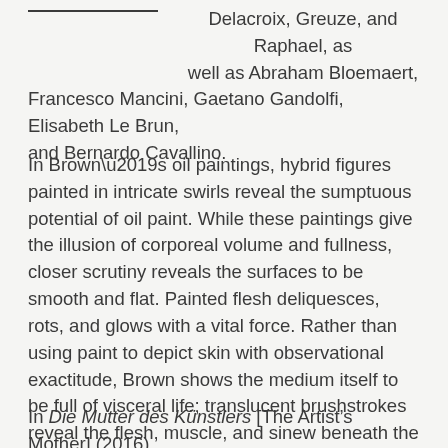Delacroix, Greuze, and Raphael, as well as Abraham Bloemaert, Francesco Mancini, Gaetano Gandolfi, Elisabeth Le Brun, and Bernardo Cavallino.
In Brown’s oil paintings, hybrid figures painted in intricate swirls reveal the sumptuous potential of oil paint. While these paintings give the illusion of corporeal volume and fullness, closer scrutiny reveals the surfaces to be smooth and flat. Painted flesh deliquesces, rots, and glows with a vital force. Rather than using paint to depict skin with observational exactitude, Brown shows the medium itself to be full of visceral life; translucent brushstrokes reveal the flesh, muscle, and sinew beneath the surface.
In Die Mutter des Künstlers [The Artist’s Mother] (2016),